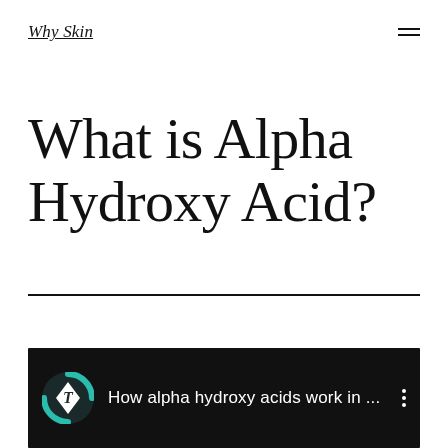Why Skin
What is Alpha Hydroxy Acid?
[Figure (screenshot): Video thumbnail with dark background showing a circular logo with letter T and text 'How alpha hydroxy acids work in ...' with a three-dot menu icon]